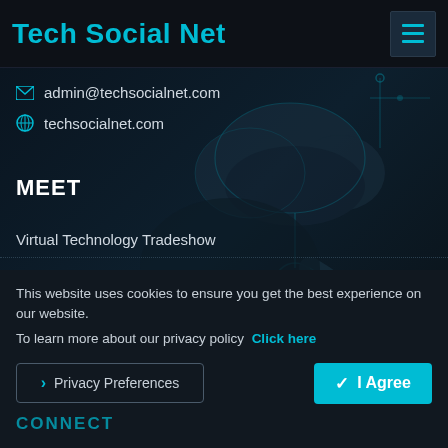Tech Social Net
admin@techsocialnet.com
techsocialnet.com
MEET
Virtual Technology Tradeshow
Pages
Events
[Figure (illustration): Dark tech background with glowing cloud, circuit board elements, and robotic arm silhouette in teal/dark blue tones]
This website uses cookies to ensure you get the best experience on our website.
To learn more about our privacy policy  Click here
> Privacy Preferences
✓ I Agree
CONNECT